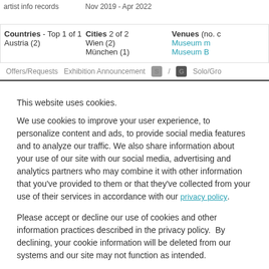artist info records
Nov 2019 - Apr 2022
Countries - Top 1 of 1
Austria (2)
Cities 2 of 2
Wien (2)
München (1)
Venues (no. ... Museum m... Museum B...
Offers/Requests   Exhibition Announcement   S / G   Solo/Gr...
This website uses cookies.
We use cookies to improve your user experience, to personalize content and ads, to provide social media features and to analyze our traffic. We also share information about your use of our site with our social media, advertising and analytics partners who may combine it with other information that you've provided to them or that they've collected from your use of their services in accordance with our privacy policy.
Please accept or decline our use of cookies and other information practices described in the privacy policy.  By declining, your cookie information will be deleted from our systems and our site may not function as intended.
Accept
Decline